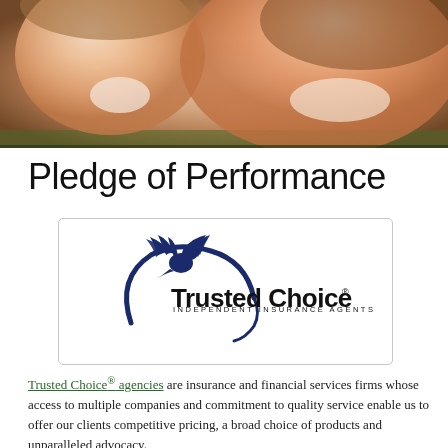[Figure (photo): Banner photo of a smiling mother and baby/child, happy expressions, outdoors background]
Pledge of Performance
[Figure (logo): Trusted Choice Independent Insurance Agents logo — bird/eagle with spread wings above a circular swoosh, bold text 'Trusted Choice' and smaller text 'INDEPENDENT INSURANCE AGENTS']
Trusted Choice® agencies are insurance and financial services firms whose access to multiple companies and commitment to quality service enable us to offer our clients competitive pricing, a broad choice of products and unparalleled advocacy.
As a Trusted Choice® agency, we are dedicated to you and are committed to treating you as a person, not a policy. This